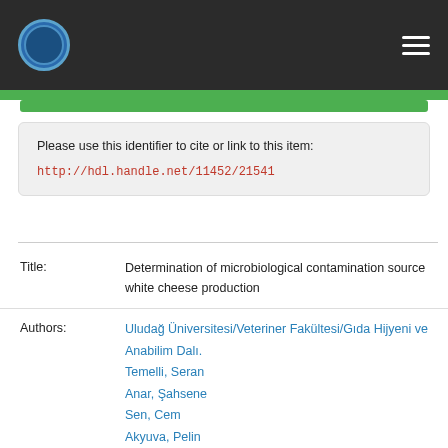Uludağ Üniversitesi institutional repository header with logo and navigation
Please use this identifier to cite or link to this item: http://hdl.handle.net/11452/21541
| Field | Value |
| --- | --- |
| Title: | Determination of microbiological contamination source white cheese production |
| Authors: | Uludağ Üniversitesi/Veteriner Fakültesi/Gıda Hijyeni ve Anabilim Dalı.
Temelli, Seran
Anar, Şahsene
Sen, Cem
Akyuva, Pelin
AAI-1092-2021
AAK-4367-2021
6506404118
6504131698 |